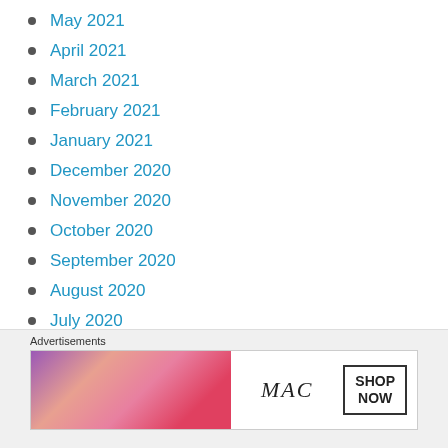May 2021
April 2021
March 2021
February 2021
January 2021
December 2020
November 2020
October 2020
September 2020
August 2020
July 2020
June 2020
May 2020
[Figure (photo): MAC Cosmetics advertisement showing lipsticks in purple, pink, and red colors with MAC logo and SHOP NOW button]
Advertisements